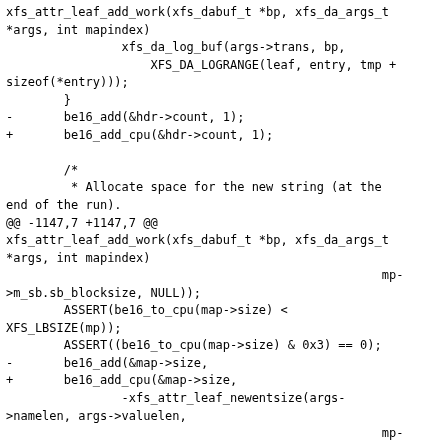xfs_attr_leaf_add_work(xfs_dabuf_t *bp, xfs_da_args_t *args, int mapindex)
                xfs_da_log_buf(args->trans, bp,
                    XFS_DA_LOGRANGE(leaf, entry, tmp +
sizeof(*entry)));
        }
-       be16_add(&hdr->count, 1);
+       be16_add_cpu(&hdr->count, 1);

        /*
         * Allocate space for the new string (at the end of the run).
@@ -1147,7 +1147,7 @@
xfs_attr_leaf_add_work(xfs_dabuf_t *bp, xfs_da_args_t *args, int mapindex)
                                                    mp->m_sb.sb_blocksize, NULL));
        ASSERT(be16_to_cpu(map->size) <
XFS_LBSIZE(mp));
        ASSERT((be16_to_cpu(map->size) & 0x3) == 0);
-       be16_add(&map->size,
+       be16_add_cpu(&map->size,
                -xfs_attr_leaf_newentsize(args->namelen, args->valuelen,
                                                    mp->m_sb.sb_blocksize, &tmp));
        entry->nameidx = cpu_to_be16(be16_to_cpu(map->base) +
@@ -1214,12 +1214,12 @@
xfs_attr_leaf_add_work(xfs_dabuf_t *bp, xfs_da_args_t